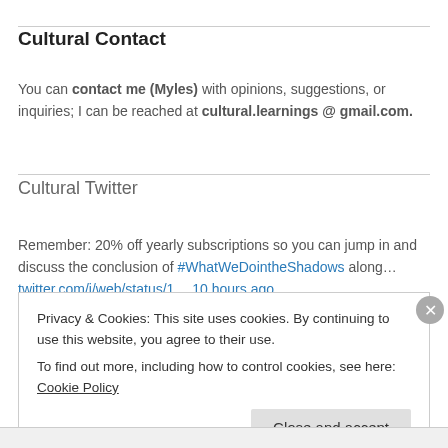Cultural Contact
You can contact me (Myles) with opinions, suggestions, or inquiries; I can be reached at cultural.learnings @ gmail.com.
Cultural Twitter
Remember: 20% off yearly subscriptions so you can jump in and discuss the conclusion of #WhatWeDointheShadows along… twitter.com/i/web/status/1… 10 hours ago
Privacy & Cookies: This site uses cookies. By continuing to use this website, you agree to their use.
To find out more, including how to control cookies, see here: Cookie Policy